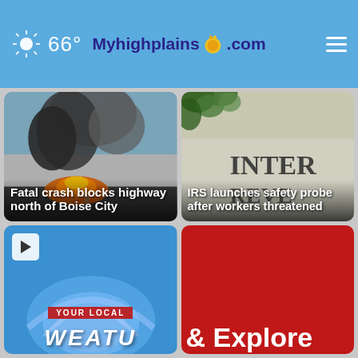66° Myhighplains.com
[Figure (screenshot): News card: Fatal crash scene with smoke and fire on highway, title overlay reads 'Fatal crash blocks highway north of Boise City']
[Figure (screenshot): News card: IRS building stone engraving partially visible, title overlay reads 'IRS launches safety probe after workers threatened']
[Figure (screenshot): News card: Local weather broadcast thumbnail with play button, text 'YOUR LOCAL WEATU...']
[Figure (screenshot): News card: Red background with large white text '& Explore']